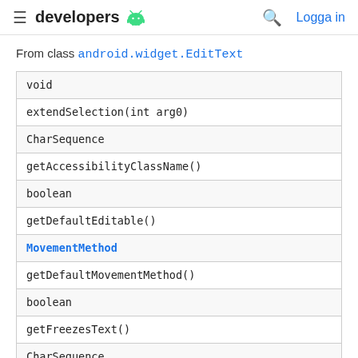developers  [android logo]  [search icon]  Logga in
From class android.widget.EditText
| void |
| extendSelection(int arg0) |
| CharSequence |
| getAccessibilityClassName() |
| boolean |
| getDefaultEditable() |
| MovementMethod |
| getDefaultMovementMethod() |
| boolean |
| getFreezesText() |
| CharSequence |
| getText() |